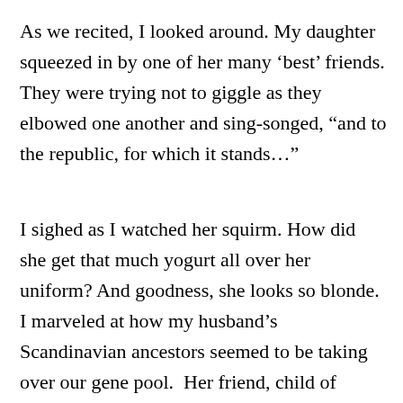As we recited, I looked around. My daughter squeezed in by one of her many ‘best’ friends. They were trying not to giggle as they elbowed one another and sing-songed, “and to the republic, for which it stands…”
I sighed as I watched her squirm. How did she get that much yogurt all over her uniform? And goodness, she looks so blonde. I marveled at how my husband’s Scandinavian ancestors seemed to be taking over our gene pool.  Her friend, child of Somali refugees, had a dull khaki scarf on today, and I hoped that this would help my daughter forget her hi-dab envy. I watched their...